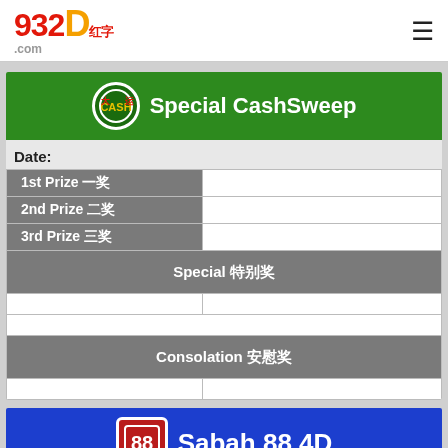[Figure (logo): 932D红字.com logo in red and orange]
Special CashSweep
Date:
| 1st Prize 一奖 | 2nd Prize 二奖 | 3rd Prize 三奖 | Special 特别奖 | Consolation 安慰奖 |
| --- | --- | --- | --- | --- |
|  |  |
|  |  |
|  |  |
|  |  |  |  |  |
|  |  |  |  |  |
|  |  |
|  |  |  |  |  |
Sabah 88 4D